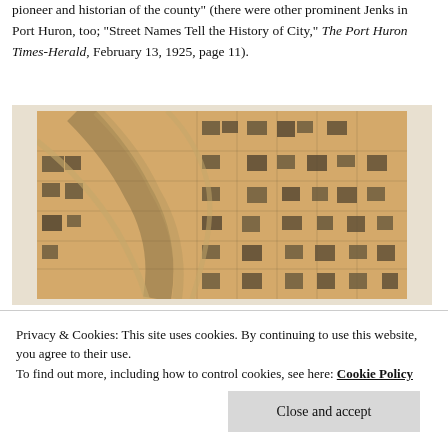pioneer and historian of the county" (there were other prominent Jenks in Port Huron, too; "Street Names Tell the History of City," The Port Huron Times-Herald, February 13, 1925, page 11).
[Figure (map): Historical bird's-eye view map of Port Huron showing a grid of streets and buildings in sepia/tan tones, with a river or waterway running diagonally through the city.]
Privacy & Cookies: This site uses cookies. By continuing to use this website, you agree to their use.
To find out more, including how to control cookies, see here: Cookie Policy